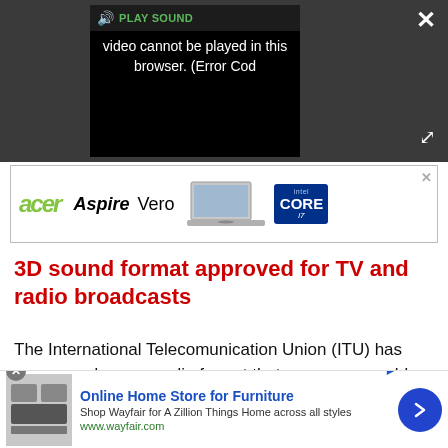[Figure (screenshot): Video player showing error message: 'Video cannot be played in this browser. (Error Cod' with PLAY SOUND button and close/expand controls on dark background]
[Figure (screenshot): Acer Aspire Vero advertisement banner with laptop image and Intel Core i7 badge]
3D sound format approved for TV and radio broadcasts
The International Telecomunication Union (ITU) has announced a new audio format that means we could have 3D audio in the not so distant future.
[Figure (screenshot): Advertisement label area with gray background]
[Figure (screenshot): Wayfair bottom ad: 'Online Home Store for Furniture' - Shop Wayfair for A Zillion Things Home across all styles - www.wayfair.com with blue arrow button]